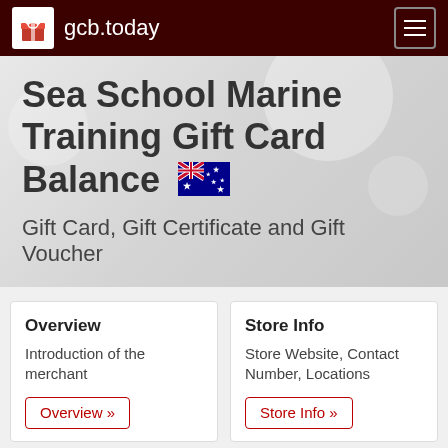gcb.today
Sea School Marine Training Gift Card Balance 🇦🇺
Gift Card, Gift Certificate and Gift Voucher
Overview
Introduction of the merchant
Overview »
Store Info
Store Website, Contact Number, Locations
Store Info »